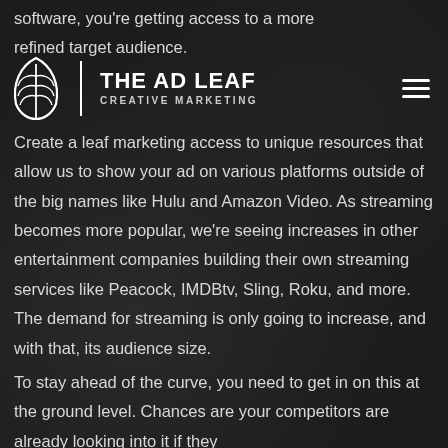software, you're getting access to a more refined target audience.
THE AD LEAF | CREATIVE MARKETING
Create a leaf marketing access to unique resources that allow us to show your ad on various platforms outside of the big names like Hulu and Amazon Video. As streaming becomes more popular, we're seeing increases in other entertainment companies building their own streaming services like Peacock, IMDBtv, Sling, Roku, and more. The demand for streaming is only going to increase, and with that, its audience size.
To stay ahead of the curve, you need to get in on this at the ground level. Chances are your competitors are already looking into it if they